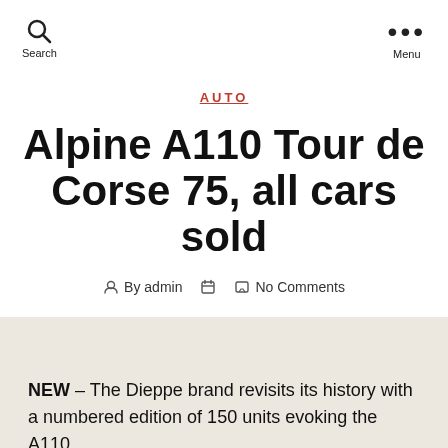Search  Menu
AUTO
Alpine A110 Tour de Corse 75, all cars sold
By admin  No Comments
NEW – The Dieppe brand revisits its history with a numbered edition of 150 units evoking the A110